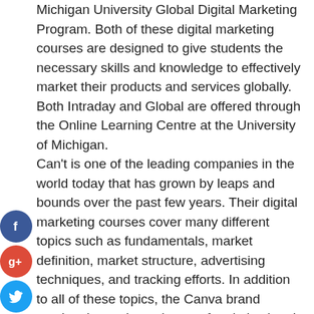Michigan University Global Digital Marketing Program. Both of these digital marketing courses are designed to give students the necessary skills and knowledge to effectively market their products and services globally. Both Intraday and Global are offered through the Online Learning Centre at the University of Michigan.
Can't is one of the leading companies in the world today that has grown by leaps and bounds over the past few years. Their digital marketing courses cover many different topics such as fundamentals, market definition, market structure, advertising techniques, and tracking efforts. In addition to all of these topics, the Canva brand teaches its students the art of optimization. It does this by teaching students how to use a number of different kinds of analytics. This allows Canva to determine which advertising working for their clients. Knowing this information can allow a company to make more informed decisions on what kinds of campaigns they should choose and implement.